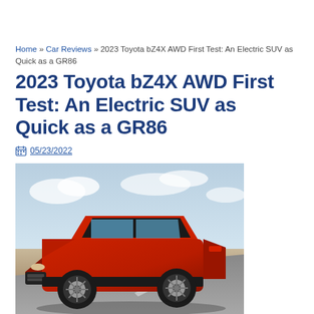Home » Car Reviews » 2023 Toyota bZ4X AWD First Test: An Electric SUV as Quick as a GR86
2023 Toyota bZ4X AWD First Test: An Electric SUV as Quick as a GR86
05/23/2022
[Figure (photo): A red Toyota bZ4X AWD electric SUV driving on a road with a desert/arid landscape and cloudy sky in the background. The vehicle is shown from a front three-quarter angle, moving to the right.]